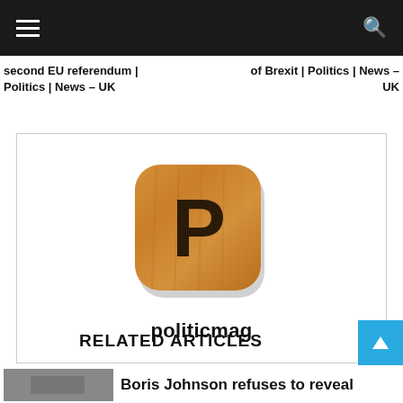second EU referendum | Politics | News – UK
of Brexit | Politics | News – UK
[Figure (logo): App icon: wooden textured rounded square with bold letter P, labeled 'politicmag']
RELATED ARTICLES
Boris Johnson refuses to reveal